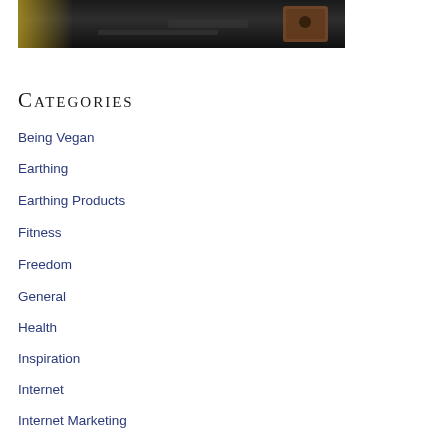[Figure (photo): Partial photo showing a dark surface with what appears to be electronic or mechanical equipment, partially cropped at the top of the page]
Categories
Being Vegan
Earthing
Earthing Products
Fitness
Freedom
General
Health
Inspiration
Internet
Internet Marketing